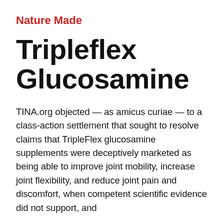Nature Made
Tripleflex Glucosamine
TINA.org objected — as amicus curiae — to a class-action settlement that sought to resolve claims that TripleFlex glucosamine supplements were deceptively marketed as being able to improve joint mobility, increase joint flexibility, and reduce joint pain and discomfort, when competent scientific evidence did not support, and